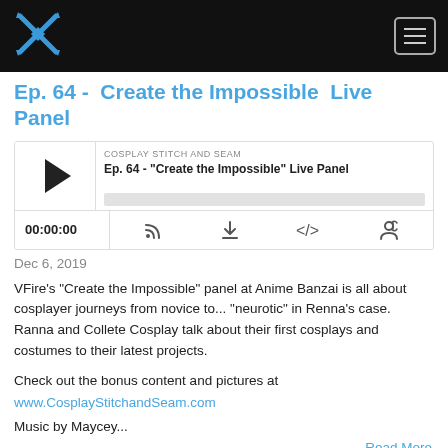Cosplay Stitch and Seam podcast website header with logo and hamburger menu
Ep. 64 - Create the Impossible Live Panel
[Figure (screenshot): Podcast audio player widget for episode 'Ep. 64 - Create the Impossible Live Panel' by Cosplay Stitch and Seam, showing play button, progress bar, time display 00:00:00, and control icons (RSS, download, embed, share)]
Dec 6, 2019
VFire's "Create the Impossible" panel at Anime Banzai is all about cosplayer journeys from novice to... "neurotic" in Renna's case. Ranna and Collete Cosplay talk about their first cosplays and costumes to their latest projects.
Check out the bonus content and pictures at www.CosplayStitchandSeam.com
Music by Maycey...
Read More